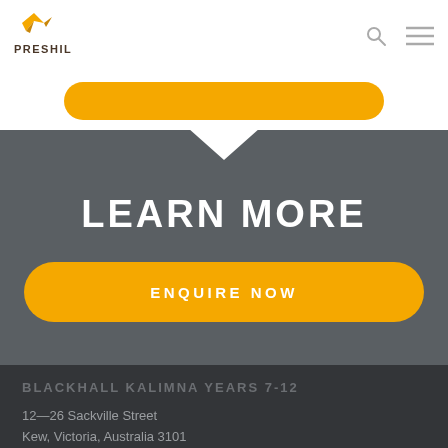PRESHIL
[Figure (other): Yellow pill-shaped button partially visible at top]
LEARN MORE
ENQUIRE NOW
BLACKHALL KALIMNA YEARS 7-12
12—26 Sackville Street
Kew, Victoria, Australia 3101